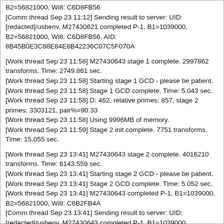B2=56821000, Wi8: C6D8FB56
[Comm thread Sep 23 11:12] Sending result to server: UID: [redacted]/usbenv, M27430621 completed P-1, B1=1039000, B2=56821000, Wi8: C6D8FB56, AID: 8B45B0E3C88E84E8B42236C07C5F070A
[Work thread Sep 23 11:58] M27430643 stage 1 complete. 2997862 transforms. Time: 2749.861 sec.
[Work thread Sep 23 11:58] Starting stage 1 GCD - please be patient.
[Work thread Sep 23 11:58] Stage 1 GCD complete. Time: 5.043 sec.
[Work thread Sep 23 11:58] D: 462, relative primes: 857, stage 2 primes: 3303121, pair%=90.33
[Work thread Sep 23 11:58] Using 9996MB of memory.
[Work thread Sep 23 11:59] Stage 2 init complete. 7751 transforms. Time: 15.055 sec.
[Work thread Sep 23 13:41] M27430643 stage 2 complete. 4016210 transforms. Time: 6143.559 sec.
[Work thread Sep 23 13:41] Starting stage 2 GCD - please be patient.
[Work thread Sep 23 13:41] Stage 2 GCD complete. Time: 5.052 sec.
[Work thread Sep 23 13:41] M27430643 completed P-1, B1=1039000, B2=56821000, Wi8: C6B2FB4A
[Comm thread Sep 23 13:41] Sending result to server: UID: [redacted]/usbenv, M27430643 completed P-1, B1=1039000, B2=56821000, Wi8: C6B2FB4A, AID: 30BC556ED1625FFF02A0B1960F00B038[/CODE]
[CODE][chalsall@usbwalker prime]$ cat /proc/cpuinfo | grep name
model name : Intel(R) Core(TM) i3-9100 CPU @ 3.60GHz
model name : Intel(R) Core(TM) i3-9100 CPU @ 3.60GHz